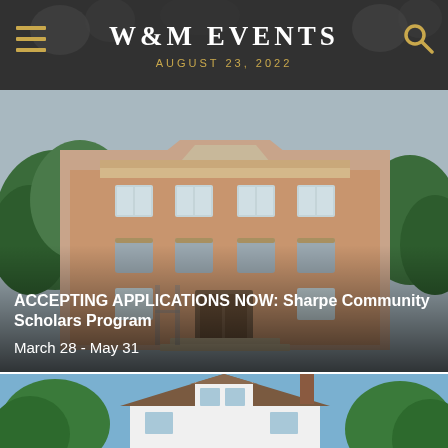W&M EVENTS
AUGUST 23, 2022
[Figure (photo): Exterior of a large brick academic building (colonial-style) with white trim, multiple windows, and front entrance steps. Green trees flank the building.]
ACCEPTING APPLICATIONS NOW: Sharpe Community Scholars Program
March 28 - May 31
[Figure (photo): Exterior of a white clapboard house with a gambrel or gabled roof, green trees surrounding it, blue sky background.]